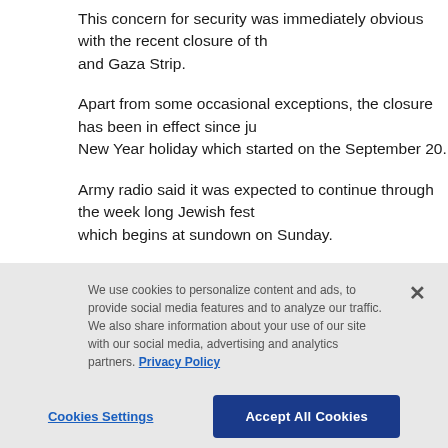This concern for security was immediately obvious with the recent closure of the and Gaza Strip.
Apart from some occasional exceptions, the closure has been in effect since ju New Year holiday which started on the September 20.
Army radio said it was expected to continue through the week long Jewish fest which begins at sundown on Sunday.
Palestinians complain bitterly about closures, which prevent tens of thousands getting to jobs in Israel and cost the Palestinian economy millions (m) in lost w commercial trade.
In sealing off the Palestinian lands, Israel cited threats from the Islamic militant which has killed scores of Israelis in suicide bombings since 1994.
Hamas vowed to carry out attacks after Israeli soldiers killed two members of t group last month.
We use cookies to personalize content and ads, to provide social media features and to analyze our traffic. We also share information about your use of our site with our social media, advertising and analytics partners. Privacy Policy
Cookies Settings | Accept All Cookies